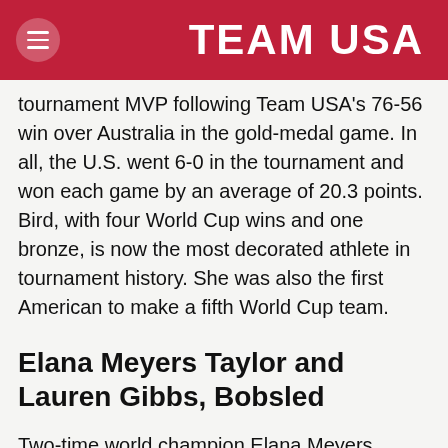TEAM USA
tournament MVP following Team USA's 76-56 win over Australia in the gold-medal game. In all, the U.S. went 6-0 in the tournament and won each game by an average of 20.3 points. Bird, with four World Cup wins and one bronze, is now the most decorated athlete in tournament history. She was also the first American to make a fifth World Cup team.
Elana Meyers Taylor and Lauren Gibbs, Bobsled
Two-time world champion Elana Meyers Taylor thought